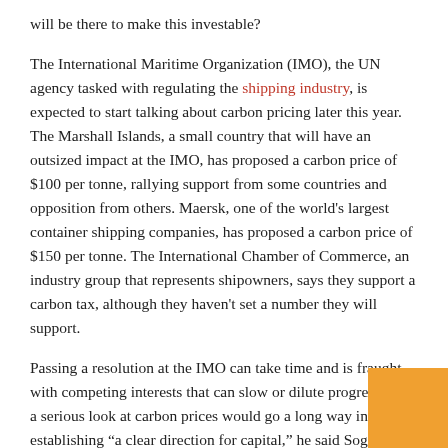will be there to make this investable?
The International Maritime Organization (IMO), the UN agency tasked with regulating the shipping industry, is expected to start talking about carbon pricing later this year. The Marshall Islands, a small country that will have an outsized impact at the IMO, has proposed a carbon price of $100 per tonne, rallying support from some countries and opposition from others. Maersk, one of the world's largest container shipping companies, has proposed a carbon price of $150 per tonne. The International Chamber of Commerce, an industry group that represents shipowners, says they support a carbon tax, although they haven't set a number they will support.
Passing a resolution at the IMO can take time and is fraught with competing interests that can slow or dilute progress, but a serious look at carbon prices would go a long way in establishing "a clear direction for capital," he said Sogaard. "It removes that uncertainty that makes running businesses really, really difficult."
Banks and corporations could start investing in green hydrogen and ammonia infrastructure and the ships that could use it, knowing this